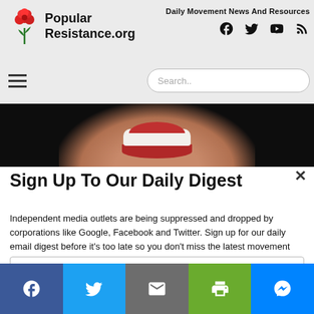Popular Resistance.org — Daily Movement News And Resources
[Figure (screenshot): Close-up photo of a person smiling against a black background, showing teeth and red lips]
Sign Up To Our Daily Digest
Independent media outlets are being suppressed and dropped by corporations like Google, Facebook and Twitter. Sign up for our daily email digest before it's too late so you don't miss the latest movement news.
Email
Social share buttons: Facebook, Twitter, Email, Print, Messenger